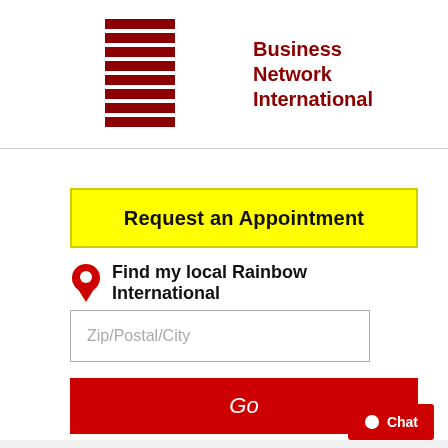[Figure (logo): BNI – Business Network International logo with striped block letters and red text]
Request an Appointment
Find my local Rainbow International
Zip/Postal/City
Go
Chat